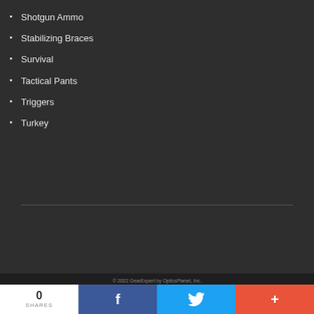Shotgun Ammo
Stabilizing Braces
Survival
Tactical Pants
Triggers
Turkey
© 2022 GearExpert by OpticsPlanet, Inc.
0 SHARES
[Figure (other): Social share buttons: Facebook (blue), Twitter (light blue), and plus/share (red-orange)]